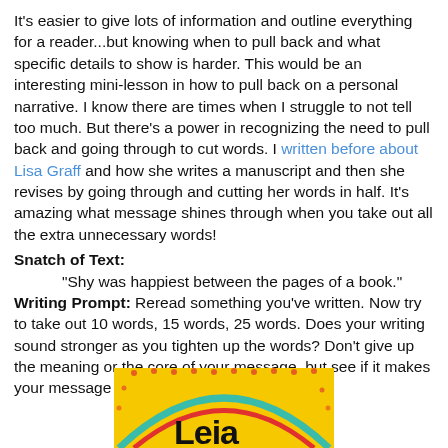It's easier to give lots of information and outline everything for a reader...but knowing when to pull back and what specific details to show is harder. This would be an interesting mini-lesson in how to pull back on a personal narrative. I know there are times when I struggle to not tell too much. But there's a power in recognizing the need to pull back and going through to cut words. I written before about Lisa Graff and how she writes a manuscript and then she revises by going through and cutting her words in half. It's amazing what message shines through when you take out all the extra unnecessary words!
Snatch of Text:
"Shy was happiest between the pages of a book."
Writing Prompt: Reread something you've written. Now try to take out 10 words, 15 words, 25 words. Does your writing sound stronger as you tighten up the words? Don't give up the meaning or the core of your message, but see if it makes your message stronger.
[Figure (photo): Partial view of a colorful book cover with yellow background, teal and red circular design, and partial text visible at bottom]